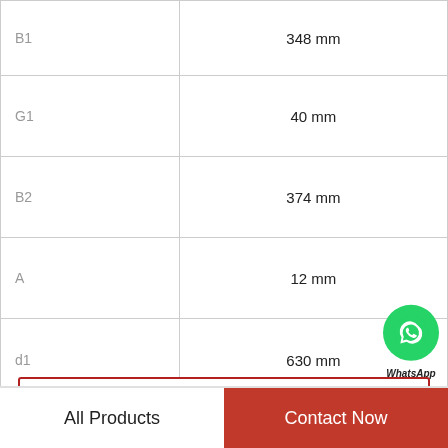| Parameter | Value |
| --- | --- |
| B1 | 348 mm |
| G1 | 40 mm |
| B2 | 374 mm |
| A | 12 mm |
| d1 | 630 mm |
| Size (mm) | 1.25 Inch | 31.75 Millimeter x 2.4375 Inch | 61.925 Millimeter x 1.25 Inch | 31.75 Millimeter |
View more
All Products   Contact Now